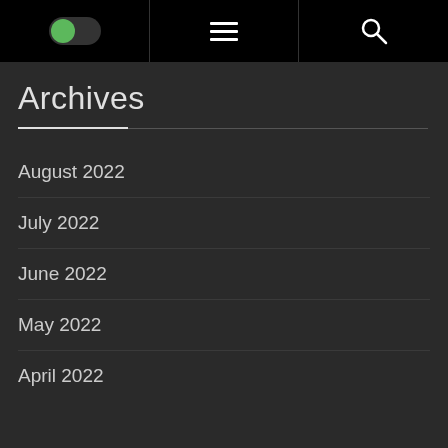Toggle / Menu / Search header bar
Archives
August 2022
July 2022
June 2022
May 2022
April 2022